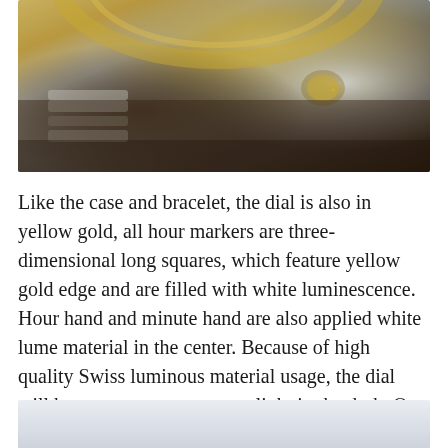[Figure (photo): Close-up photograph of a luxury watch showing gold dial with Roman numeral markers, yellow gold fluted bezel, and steel/gold bracelet, resting on a dark brown surface.]
Like the case and bracelet, the dial is also in yellow gold, all hour markers are three-dimensional long squares, which feature yellow gold edge and are filled with white luminescence. Hour hand and minute hand are also applied white lume material in the center. Because of high quality Swiss luminous material usage, the dial will have a very strong green light in the dark. On the outer dial, there is black minute scales in track style, black Rome markers in every five minutes.
[Figure (photo): Partial view of another watch photograph, light grey/blue toned background visible at the bottom of the page.]